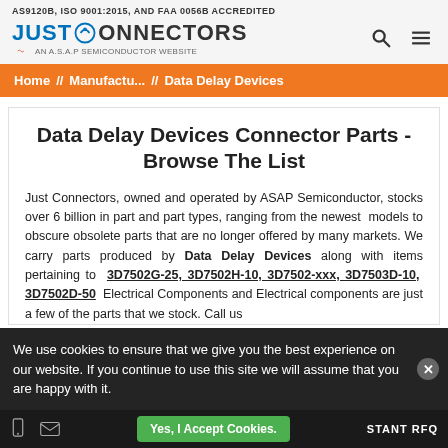AS9120B, ISO 9001:2015, AND FAA 0056B ACCREDITED
[Figure (logo): Just Connectors logo with ASAP Semiconductor tagline]
Home // Manufactu... // Data Delay Devices
Data Delay Devices Connector Parts - Browse The List
Just Connectors, owned and operated by ASAP Semiconductor, stocks over 6 billion in part and part types, ranging from the newest models to obscure obsolete parts that are no longer offered by many markets. We carry parts produced by Data Delay Devices along with items pertaining to 3D7502G-25, 3D7502H-10, 3D7502-xxx, 3D7503D-10, 3D7502D-50 Electrical Components and Electrical Components are just a few of the parts that we stock. Call us
We use cookies to ensure that we give you the best experience on our website. If you continue to use this site we will assume that you are happy with it.
Yes, I Accept Cookies.
STANT RFQ